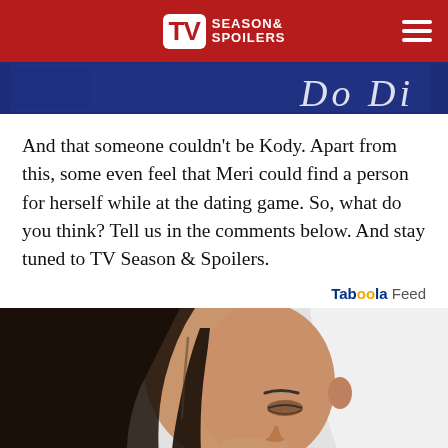TV Season & Spoilers
[Figure (photo): Partial view of a person in a dark navy outfit, top of image cropped]
And that someone couldn't be Kody. Apart from this, some even feel that Meri could find a person for herself while at the dating game. So, what do you think? Tell us in the comments below. And stay tuned to TV Season & Spoilers.
Taboola Feed
[Figure (photo): Young woman with dark hair in ponytail, wearing pink and black sports bra, looking downward, light grey background]